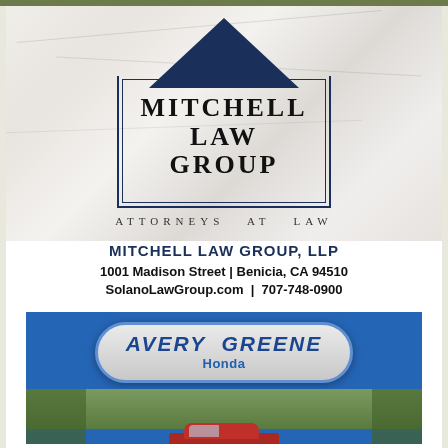[Figure (logo): Mitchell Law Group logo: dark navy triangle/house shape above a rectangular border containing 'MITCHELL LAW GROUP' in large serif text, with 'ATTORNEYS AT LAW' in small spaced caps below, on a marble texture background]
MITCHELL LAW GROUP, LLP
1001 Madison Street | Benicia, CA 94510
SolanoLawGroup.com | 707-748-0900
[Figure (logo): Avery Greene Honda advertisement. Blue background with a rounded badge logo reading 'AVERY GREENE Honda' in italic bold text. Below is a photo of a red Honda car on a winding road with trees, and a slogan 'The Most Impressive Honda Ever!']